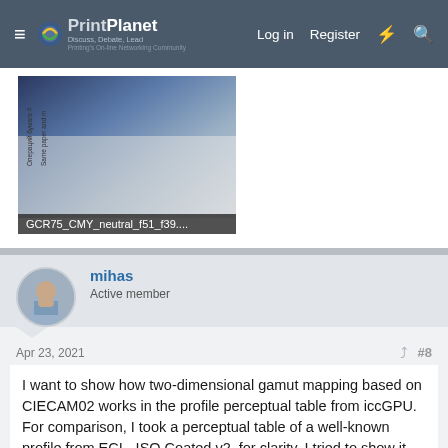PrintPlanet – Log in  Register
[Figure (screenshot): Partial thumbnail image showing a color gradient/print comparison image with rotated text labels on the left side. Caption reads: GCR75_CMY_neutral_f51_f39....]
GCR75_CMY_neutral_f51_f39....
mihas
Active member
Apr 23, 2021
#8
I want to show how two-dimensional gamut mapping based on CIECAM02 works in the profile perceptual table from iccGPU. For comparison, I took a perceptual table of a well-known profile from ECI - ISO Coated v2, for clarity. I tried to show it on photographs, but there is not so clear a comparison than when you move the results close to each